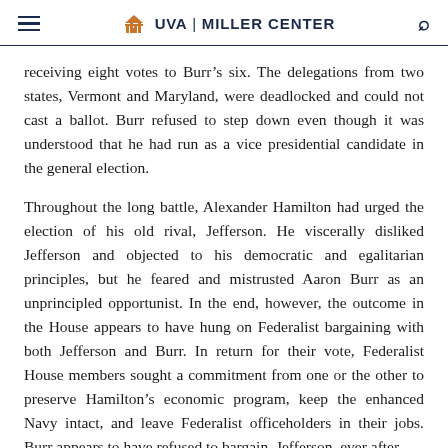UVA | MILLER CENTER
receiving eight votes to Burr’s six. The delegations from two states, Vermont and Maryland, were deadlocked and could not cast a ballot. Burr refused to step down even though it was understood that he had run as a vice presidential candidate in the general election.
Throughout the long battle, Alexander Hamilton had urged the election of his old rival, Jefferson. He viscerally disliked Jefferson and objected to his democratic and egalitarian principles, but he feared and mistrusted Aaron Burr as an unprincipled opportunist. In the end, however, the outcome in the House appears to have hung on Federalist bargaining with both Jefferson and Burr. In return for their vote, Federalist House members sought a commitment from one or the other to preserve Hamilton’s economic program, keep the enhanced Navy intact, and leave Federalist officeholders in their jobs. Burr appears to have refused to bargain. Jefferson, ever after,